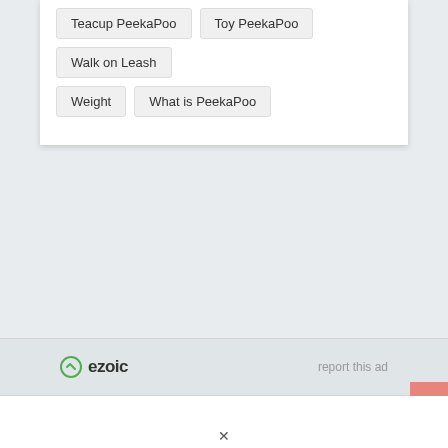Teacup PeekaPoo
Toy PeekaPoo
Walk on Leash
Weight
What is PeekaPoo
ezoic  report this ad